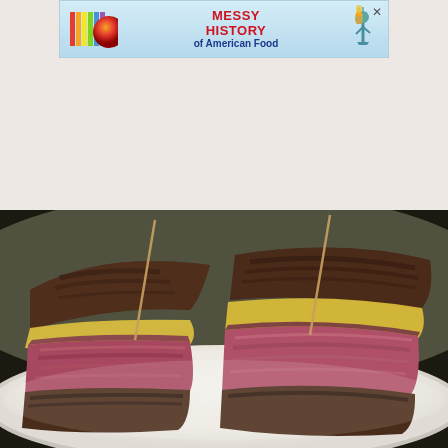[Figure (other): Advertisement banner with colorful logo on left (vertical color bars and sphere shape), bold red text reading MESSY HISTORY of American Food, close button X top right, Statue of Liberty illustration on right, light blue gradient background]
[Figure (photo): Close-up photograph of a Reuben sandwich cut in half showing two halves on a white plate. The sandwich is made with thick grilled/toasted marble rye bread with grill marks, filled with pink corned beef, melted Swiss cheese, and red cabbage sauerkraut. Toothpicks hold the halves together. Background is blurred dark and light tones.]